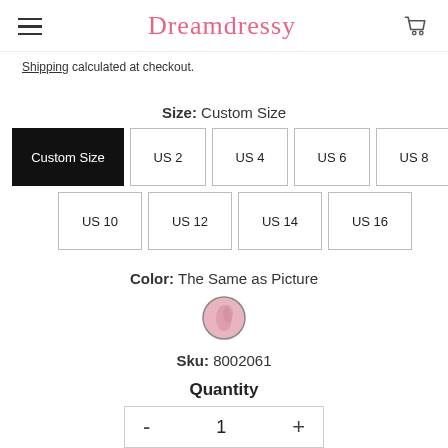Dreamdressy
Shipping calculated at checkout.
Size: Custom Size
Size options: Custom Size, US 2, US 4, US 6, US 8, US 10, US 12, US 14, US 16. Selected: Custom Size
Color: The Same as Picture
[Figure (photo): Pink fabric color swatch circle]
Sku: 8002061
Quantity
- 1 +